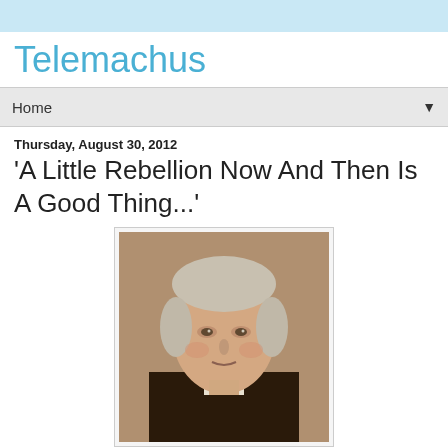Telemachus
Home
Thursday, August 30, 2012
'A Little Rebellion Now And Then Is A Good Thing...'
[Figure (photo): Portrait painting of Thomas Jefferson, an older white-haired man in a dark coat with white collar, classical painted portrait style]
'I hold it that a little rebellion now and then is a good